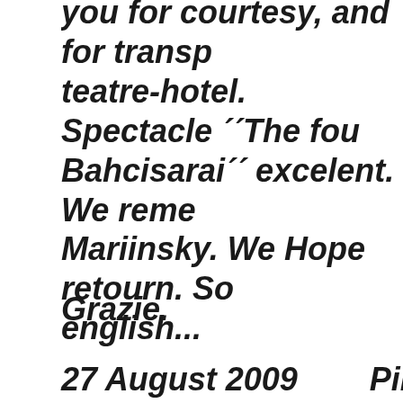you for courtesy, and for transp teatre-hotel. Spectacle ´´The fou Bahcisarai´´ excelent. We reme Mariinsky. We Hope retourn. So english...
Grazie.
27 August 2009        Pino, Italy
Yesterday evening we returned Petersburg. We had a wonderfu